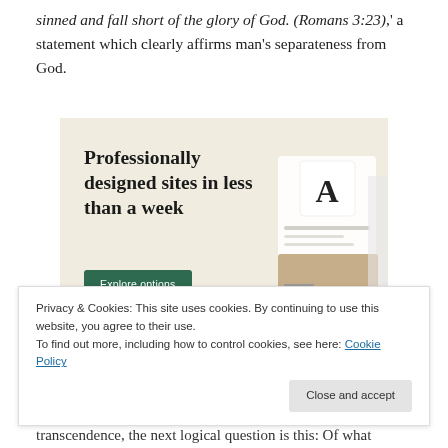sinned and fall short of the glory of God. (Romans 3:23),' a statement which clearly affirms man's separateness from God.
[Figure (screenshot): Advertisement banner with beige background reading 'Professionally designed sites in less than a week' with a green 'Explore options' button and UI mockup screenshots on the right.]
Privacy & Cookies: This site uses cookies. By continuing to use this website, you agree to their use.
To find out more, including how to control cookies, see here: Cookie Policy
transcendence, the next logical question is this: Of what